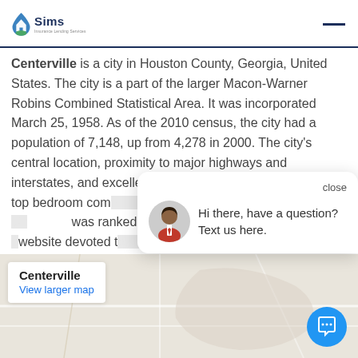Sims — website header with logo
Centerville is a city in Houston County, Georgia, United States. The city is a part of the larger Macon-Warner Robins Combined Statistical Area. It was incorporated March 25, 1958. As of the 2010 census, the city had a population of 7,148, up from 4,278 in 2000. The city's central location, proximity to major highways and interstates, and excellent quality of life makes it one of the top bedroom communities in Georgia. In 2016, Centerville was ranked 7th H... website devoted t...
[Figure (screenshot): Chat popup widget showing 'close' button, agent avatar photo, and text 'Hi there, have a question? Text us here.']
[Figure (map): Google Maps embedded map showing Centerville city location with a white label box showing 'Centerville' and 'View larger map' link, and a blue chat button in the bottom right.]